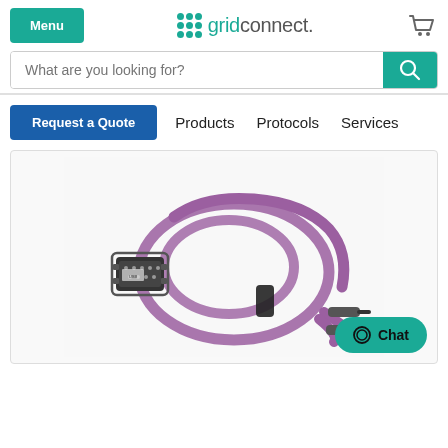Menu | gridconnect. [cart icon]
What are you looking for?
Request a Quote | Products | Protocols | Services
[Figure (photo): Purple serial cable coiled with DB9 connector and two barrel connectors, bound with a black cable tie. Chat button visible in bottom right corner.]